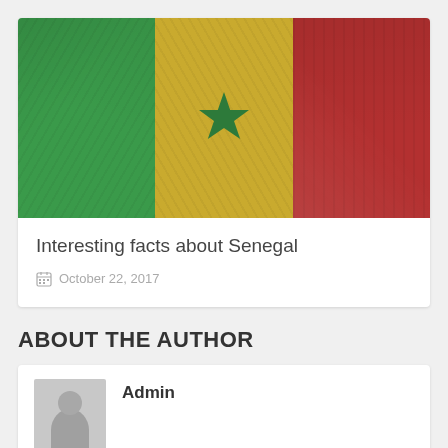[Figure (photo): Flag of Senegal with cracked grunge texture — three vertical stripes: green, yellow (with green star in center), and red]
Interesting facts about Senegal
October 22, 2017
ABOUT THE AUTHOR
Admin